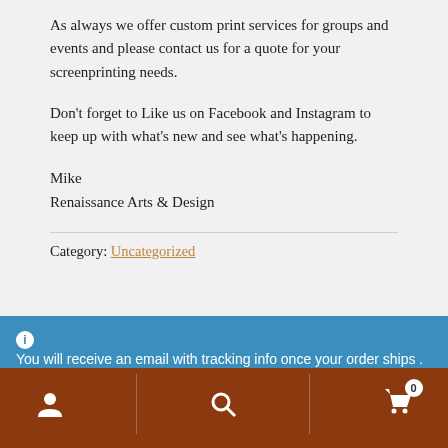As always we offer custom print services for groups and events and please contact us for a quote for your screenprinting needs.
Don’t forget to Like us on Facebook and Instagram to keep up with what’s new and see what’s happening.
Mike
Renaissance Arts & Design
Category: Uncategorized
You will receive an email with tracking info once your order ships . Thank you for your patience.
Dismiss
[Figure (screenshot): Website footer with logo text CHANGES partially visible, brown navigation bar with person icon, search icon, and shopping cart icon with badge showing 0]